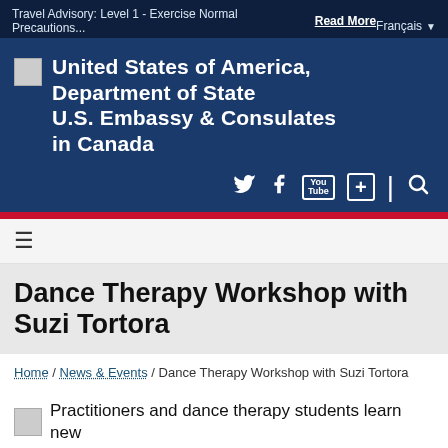Travel Advisory: Level 1 - Exercise Normal Precautions... Read More  Français
[Figure (logo): United States of America, Department of State seal/logo placeholder and U.S. Embassy & Consulates in Canada text with social media icons (Twitter, Facebook, YouTube, Plus, Search)]
≡
Dance Therapy Workshop with Suzi Tortora
Home / News & Events / Dance Therapy Workshop with Suzi Tortora
Practitioners and dance therapy students learn new